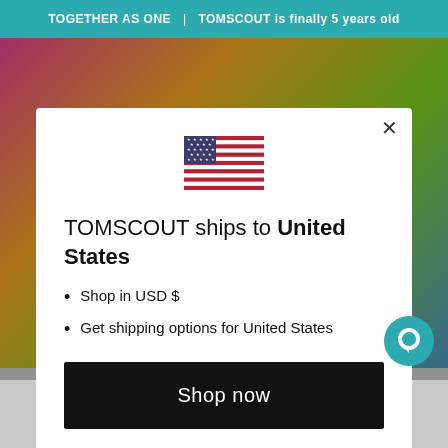TOGETHER AS ONE | TOMSCOUT is finally 5 years old
[Figure (screenshot): White modal dialog on a blurred colorful background. Contains US flag emoji, shipping destination message, bullet list, Shop now button, and change shipping link.]
TOMSCOUT ships to United States
Shop in USD $
Get shipping options for United States
Shop now
Change shipping country
June 25, 2021 · By Jennifer Meyer